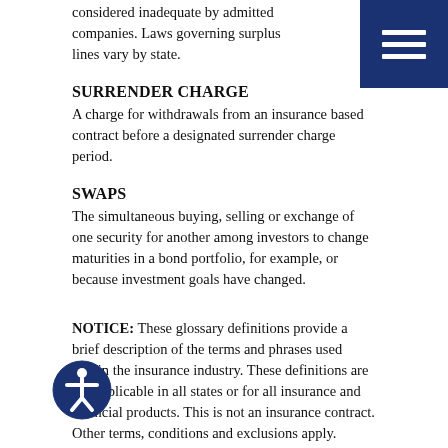considered inadequate by admitted companies. Laws governing surplus lines vary by state.
SURRENDER CHARGE
A charge for withdrawals from an insurance based contract before a designated surrender charge period.
SWAPS
The simultaneous buying, selling or exchange of one security for another among investors to change maturities in a bond portfolio, for example, or because investment goals have changed.
NOTICE: These glossary definitions provide a brief description of the terms and phrases used within the insurance industry. These definitions are not applicable in all states or for all insurance and financial products. This is not an insurance contract. Other terms, conditions and exclusions apply. Please read your official policy for full details about coverages. These definitions do not alter or modify the terms of any insurance contract. If there is any conflict between these definitions and the provisions of the applicable insurance policy, the terms of the policy control. Additionally, this informational resource is not